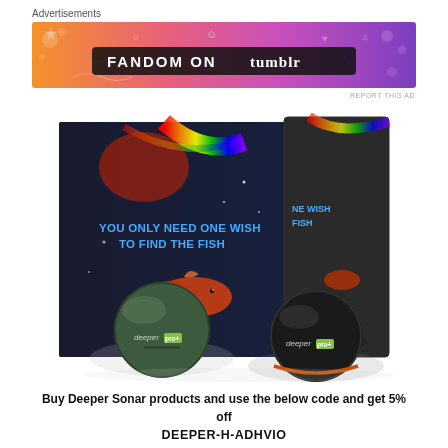Advertisements
[Figure (photo): Tumblr Fandom On advertisement banner with colorful gradient background (orange to purple) and fireworks/icons]
REPORT THIS AD
[Figure (photo): Product photo of two Deeper Sonar Pro+ devices (one olive green, one black) with their packaging boxes showing text 'YOU ONLY NEED ONE WISH TO FIND THE FISH' with rainbow light and goldfish on dark background]
Buy Deeper Sonar products and use the below code and get 5% off
DEEPER-H-ADHVIO